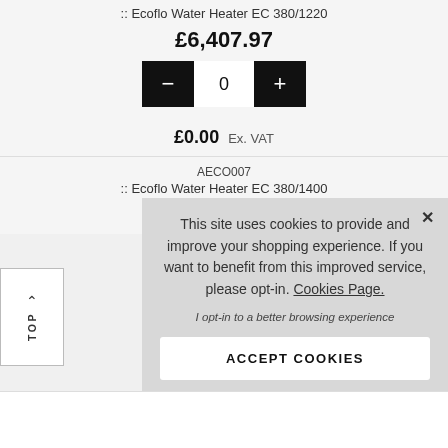:: Ecoflo Water Heater EC 380/1220
£6,407.97
0
£0.00 Ex. VAT
AECO007
:: Ecoflo Water Heater EC 380/1400
£6,622.16
TOP
This site uses cookies to provide and improve your shopping experience. If you want to benefit from this improved service, please opt-in. Cookies Page.
I opt-in to a better browsing experience
ACCEPT COOKIES